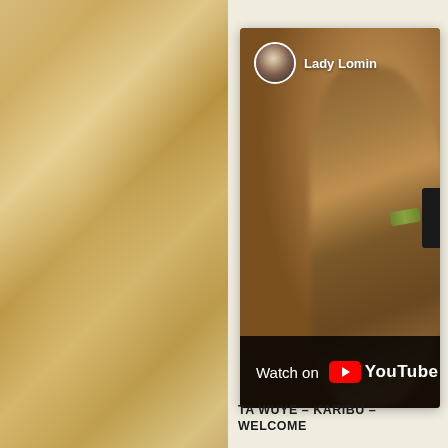[Figure (screenshot): YouTube video thumbnail showing a close-up of a raised arm/hand with a green bracelet. Channel avatar (circular black-and-white photo of a bearded man) and channel name 'Lady Lomin' are overlaid in the top-left. A 'Watch on YouTube' bar appears at the bottom of the thumbnail.]
TA WUYE – KARIBU – WELCOME